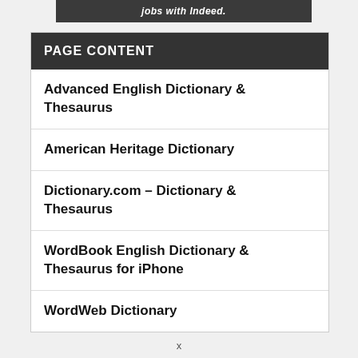[Figure (other): Dark banner at top with italic bold white text 'jobs with Indeed.']
PAGE CONTENT
Advanced English Dictionary & Thesaurus
American Heritage Dictionary
Dictionary.com – Dictionary & Thesaurus
WordBook English Dictionary & Thesaurus for iPhone
WordWeb Dictionary
x